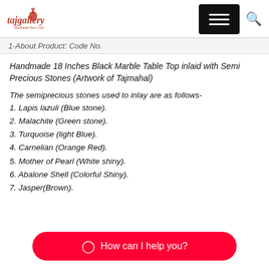tajgallery — Handmade Your Craft
1-About Product: Code No.
Handmade 18 Inches Black Marble Table Top inlaid with Semi Precious Stones (Artwork of Tajmahal)
The semiprecious stones used to inlay are as follows-
1. Lapis lazuli (Blue stone).
2. Malachite (Green stone).
3. Turquoise (light Blue).
4. Carnelian (Orange Red).
5. Mother of Pearl (White shiny).
6. Abalone Shell (Colorful Shiny).
7. Jasper(Brown).
How can I help you?